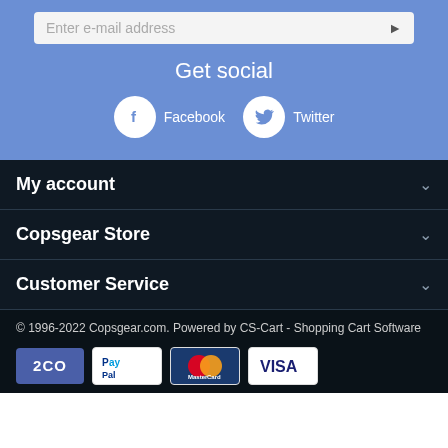[Figure (screenshot): Email subscription input bar with placeholder text 'Enter e-mail address' and a right-arrow button]
Get social
[Figure (infographic): Social media icons: circular white icons with Facebook 'f' logo and Twitter bird logo, labeled 'Facebook' and 'Twitter']
My account
Copsgear Store
Customer Service
© 1996-2022 Copsgear.com. Powered by CS-Cart - Shopping Cart Software
[Figure (infographic): Payment method icons: 2CO, PayPal, MasterCard, VISA]